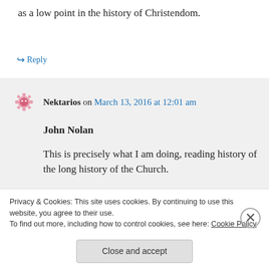as a low point in the history of Christendom.
↪ Reply
Nektarios on March 13, 2016 at 12:01 am
John Nolan
This is precisely what I am doing, reading history of the long history of the Church.
As I have said to St. Joseph recently, the
Privacy & Cookies: This site uses cookies. By continuing to use this website, you agree to their use.
To find out more, including how to control cookies, see here: Cookie Policy
Close and accept